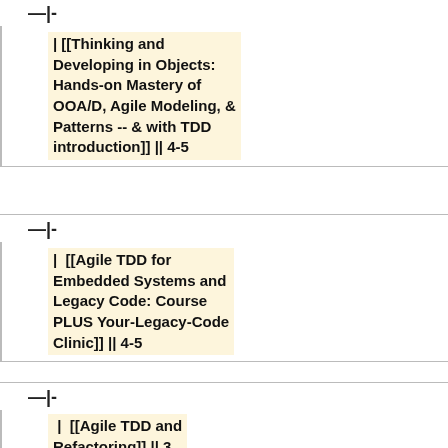|-
| [[Thinking and Developing in Objects: Hands-on Mastery of OOA/D, Agile Modeling, & Patterns -- & with TDD introduction]] || 4-5
|-
|  [[Agile TDD for Embedded Systems and Legacy Code: Course PLUS Your-Legacy-Code Clinic]] || 4-5
|-
|  [[Agile TDD and Refactoring]] || 3
|-